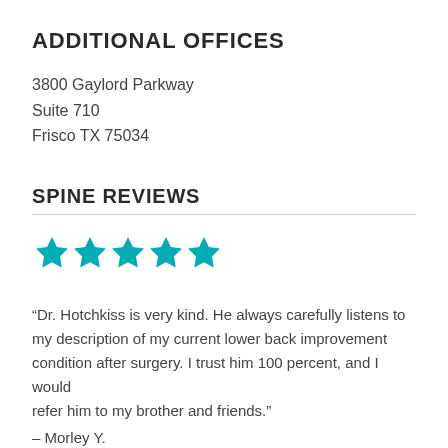ADDITIONAL OFFICES
3800 Gaylord Parkway
Suite 710
Frisco TX 75034
SPINE REVIEWS
[Figure (other): Five teal/cyan filled stars rating]
“Dr. Hotchkiss is very kind. He always carefully listens to my description of my current lower back improvement condition after surgery. I trust him 100 percent, and I would refer him to my brother and friends.”
– Morley Y.
[Figure (other): Five teal/cyan filled stars rating (partially visible)]